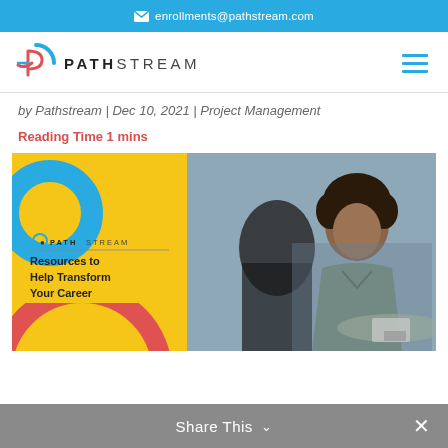✉ enrollments@pathstream.com
[Figure (logo): Pathstream logo with stylized P and PATHSTREAM wordmark]
by Pathstream | Dec 10, 2021 | Project Management
Reading Time 1 mins
[Figure (illustration): Pathstream promotional image: yellow card with Pathstream logo and text 'Resources to Help Transform Your Career' on left, professional woman in meeting on right]
Share This ∨  ✕